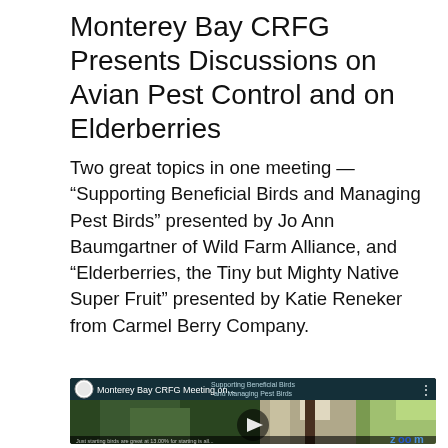Monterey Bay CRFG Presents Discussions on Avian Pest Control and on Elderberries
Two great topics in one meeting — “Supporting Beneficial Birds and Managing Pest Birds” presented by Jo Ann Baumgartner of Wild Farm Alliance, and “Elderberries, the Tiny but Mighty Native Super Fruit” presented by Katie Reneker from Carmel Berry Company.
[Figure (screenshot): Video thumbnail for 'Monterey Bay CRFG Meeting on...' showing a woodpecker on a tree with green foliage, with a play button overlay and Zoom logo in the corner. The video is about Supporting Beneficial Birds and Managing Pest Birds.]